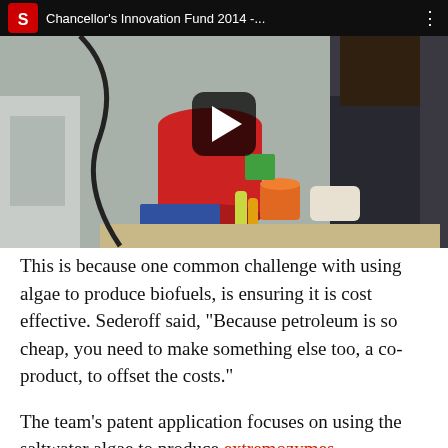[Figure (screenshot): YouTube video thumbnail showing a lab scene with a researcher working at a bench with colorful lab equipment. The video overlay bar at the top shows the NC State logo and title 'Chancellor's Innovation Fund 2014 -...' with a menu dots icon. A large play button is centered on the video.]
This is because one common challenge with using algae to produce biofuels, is ensuring it is cost effective. Sederoff said, “Because petroleum is so cheap, you need to make something else too, a co-product, to offset the costs.”
The team’s patent application focuses on using the saltwater algae to produce extremozymes — enzymes that work under extreme conditions and are quite